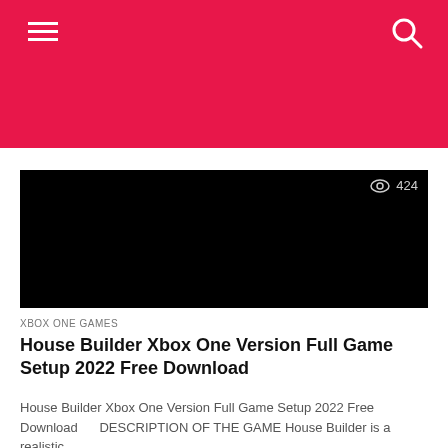[Figure (screenshot): Black thumbnail image with view count 424 in top right corner]
XBOX ONE GAMES
House Builder Xbox One Version Full Game Setup 2022 Free Download
House Builder Xbox One Version Full Game Setup 2022 Free Download     DESCRIPTION OF THE GAME House Builder is a realistic...